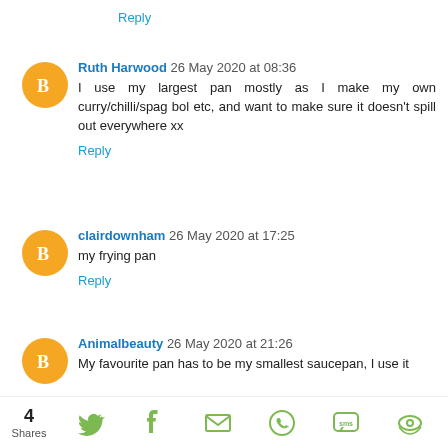Reply
Ruth Harwood 26 May 2020 at 08:36
I use my largest pan mostly as I make my own curry/chilli/spag bol etc, and want to make sure it doesn't spill out everywhere xx
Reply
clairdownham 26 May 2020 at 17:25
my frying pan
Reply
Animalbeauty 26 May 2020 at 21:26
My favourite pan has to be my smallest saucepan, I use it
4 Shares